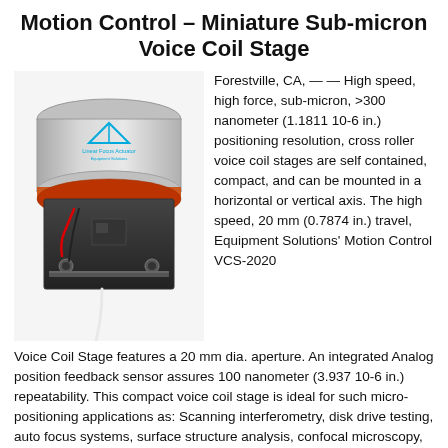Motion Control – Miniature Sub-micron Voice Coil Stage
[Figure (photo): Photo of a miniature sub-micron voice coil stage device, showing a cylindrical metallic top with a blue Linear Focus Actuator logo, attached to a black rectangular mechanical base with wiring visible.]
Forestville, CA, — — High speed, high force, sub-micron, >300 nanometer (1.1811 10-6 in.) positioning resolution, cross roller voice coil stages are self contained, compact, and can be mounted in a horizontal or vertical axis. The high speed, 20 mm (0.7874 in.) travel, Equipment Solutions' Motion Control VCS-2020 Voice Coil Stage features a 20 mm dia. aperture. An integrated Analog position feedback sensor assures 100 nanometer (3.937 10-6 in.) repeatability. This compact voice coil stage is ideal for such micro-positioning applications as: Scanning interferometry, disk drive testing, auto focus systems, surface structure analysis, confocal microscopy, biotechnology, and semiconductor test equipment.